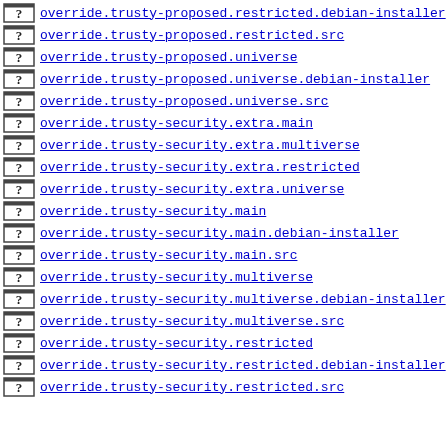override.trusty-proposed.restricted.debian-installer
override.trusty-proposed.restricted.src
override.trusty-proposed.universe
override.trusty-proposed.universe.debian-installer
override.trusty-proposed.universe.src
override.trusty-security.extra.main
override.trusty-security.extra.multiverse
override.trusty-security.extra.restricted
override.trusty-security.extra.universe
override.trusty-security.main
override.trusty-security.main.debian-installer
override.trusty-security.main.src
override.trusty-security.multiverse
override.trusty-security.multiverse.debian-installer
override.trusty-security.multiverse.src
override.trusty-security.restricted
override.trusty-security.restricted.debian-installer
override.trusty-security.restricted.src